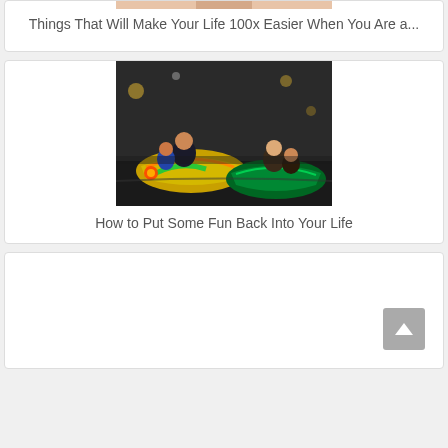[Figure (photo): Partial top image of a person, cropped at top of page]
Things That Will Make Your Life 100x Easier When You Are a...
[Figure (photo): People riding colorful bumper cars at an amusement park, laughing and having fun]
How to Put Some Fun Back Into Your Life
[Figure (photo): Third card/article placeholder, mostly empty white box]